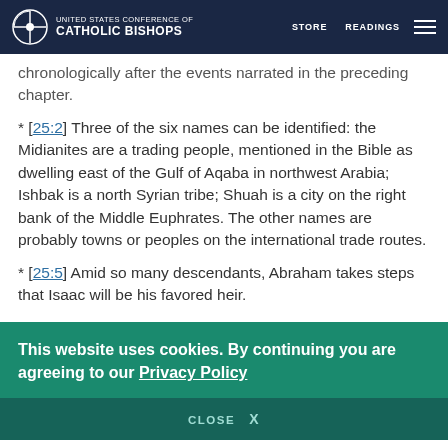UNITED STATES CONFERENCE OF CATHOLIC BISHOPS | STORE | READINGS
chronologically after the events narrated in the preceding chapter.
* [25:2] Three of the six names can be identified: the Midianites are a trading people, mentioned in the Bible as dwelling east of the Gulf of Aqaba in northwest Arabia; Ishbak is a north Syrian tribe; Shuah is a city on the right bank of the Middle Euphrates. The other names are probably towns or peoples on the international trade routes.
* [25:5] Amid so many descendants, Abraham takes steps that Isaac will be his favored heir.
* [25:6] The death of Abraham of the grave of the Torah...
This website uses cookies. By continuing you are agreeing to our Privacy Policy
CLOSE X